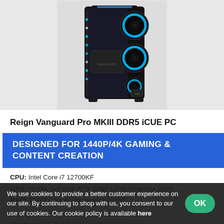[Figure (photo): Gaming PC tower (Reign Vanguard Pro MKIII DDR5 iCUE PC) with black case, RGB blue ring fans on the right side, and RGB lighting strip on the left edge. The case has a tempered glass side panel.]
Reign Vanguard Pro MKIII DDR5 iCUE PC
DESIGNED FOR 1440P/4K GAMING & CONTENT CREATION
CPU: Intel Core i7 12700KF
GPU: Nvidia GeForce RTX 3080 12GB Graphics Card
RAM: 32GB Corsair Vengeance DDR5
Storage: 2TB WD Blue SN570 NVMe
Storage: 500GB WD BLACK SN850 PCIe 4.0
Operating System: Windows 11 Home
We use cookies to provide a better customer experience on our site. By continuing to shop with us, you consent to our use of cookies. Our cookie policy is available here